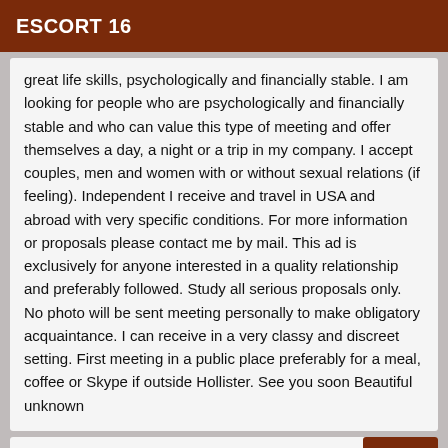ESCORT 16
great life skills, psychologically and financially stable. I am looking for people who are psychologically and financially stable and who can value this type of meeting and offer themselves a day, a night or a trip in my company. I accept couples, men and women with or without sexual relations (if feeling). Independent I receive and travel in USA and abroad with very specific conditions. For more information or proposals please contact me by mail. This ad is exclusively for anyone interested in a quality relationship and preferably followed. Study all serious proposals only. No photo will be sent meeting personally to make obligatory acquaintance. I can receive in a very classy and discreet setting. First meeting in a public place preferably for a meal, coffee or Skype if outside Hollister. See you soon Beautiful unknown
Online